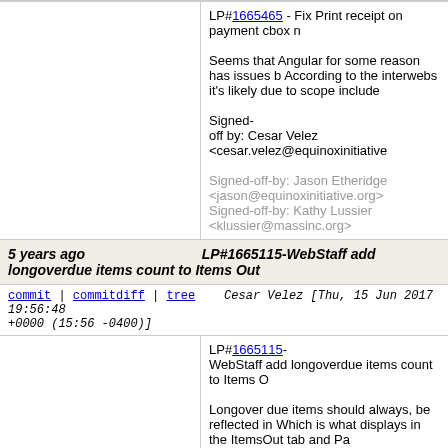LP#1665465 - Fix Print receipt on payment cbox n

Seems that Angular for some reason has issues b According to the interwebs it's likely due to scope include

Signed-off by: Cesar Velez <cesar.velez@equinoxinitiative

Signed-off-by: Jason Etheridge <jason@equinoxinitiative.org>
Signed-off-by: Kathy Lussier <klussier@massinc.org>
5 years ago LP#1665115-WebStaff add longoverdue items count to Items Out
commit | commitdiff | tree Cesar Velez [Thu, 15 Jun 2017 19:56:48 +0000 (15:56 -0400)]
LP#1665115-
WebStaff add longoverdue items count to Items O

Longover due items should always, be reflected in Which is what displays in the ItemsOut tab and Pa

Signed-off by: Cesar Velez <cesar.velez@equinoxinitiative